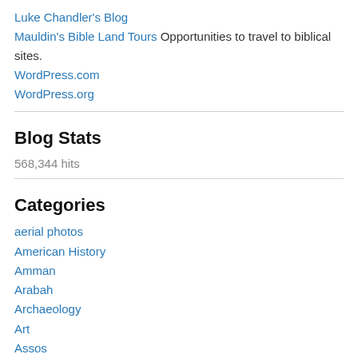Luke Chandler's Blog
Mauldin's Bible Land Tours Opportunities to travel to biblical sites.
WordPress.com
WordPress.org
Blog Stats
568,344 hits
Categories
aerial photos
American History
Amman
Arabah
Archaeology
Art
Assos